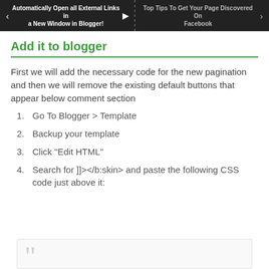[Figure (screenshot): Navigation banner with two items: left side (dark background) shows 'Automatically Open all External Links in a New Window in Blogger!' with a left arrow and cursor icon; right side shows 'Top Tips To Get Your Page Discovered On Facebook' with a right arrow, separated by dotted line.]
Add it to blogger
First we will add the necessary code for the new pagination and then we will remove the existing default buttons that appear below comment section
Go To Blogger > Template
Backup your template
Click "Edit HTML"
Search for ]]></b:skin> and paste the following CSS code just above it:
[Figure (screenshot): Bottom portion of a quote/code box with large decorative quotation mark in gray.]